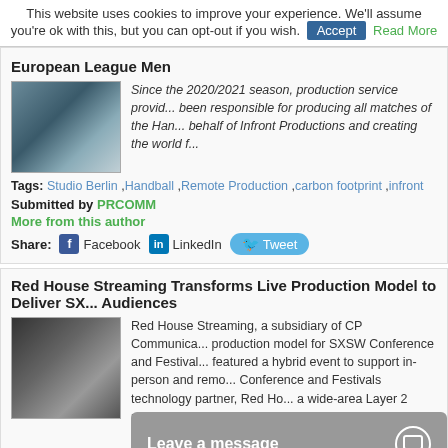This website uses cookies to improve your experience. We'll assume you're ok with this, but you can opt-out if you wish. Accept Read More
European League Men
[Figure (photo): Photo of a broadcast control room with multiple screens showing handball footage]
Since the 2020/2021 season, production service provid... been responsible for producing all matches of the Han... behalf of Infront Productions and creating the world f...
Tags: Studio Berlin , Handball , Remote Production , carbon footprint , infront
Submitted by PRCOMM
More from this author
Share: Facebook LinkedIn Tweet
Red House Streaming Transforms Live Production Model to Deliver SX... Audiences
[Figure (photo): Photo of broadcast equipment stacked in a room for remote production at SXSW]
Red House Streaming, a subsidiary of CP Communica... production model for SXSW Conference and Festival... featured a hybrid event to support in-person and remo... Conference and Festivals technology partner, Red Ho... a wide-area Layer 2 network infrastructure across mu... crew to help bring inspirational sessions and panels, m... more to audiences worldwide.
Leave a message